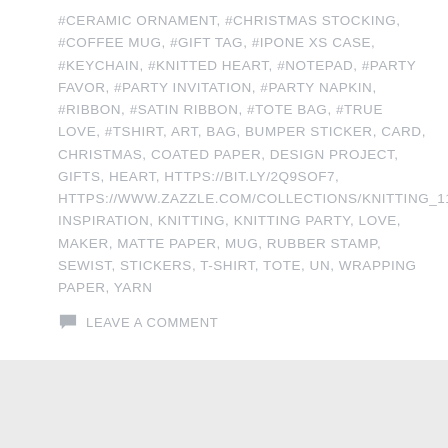#CERAMIC ORNAMENT, #CHRISTMAS STOCKING, #COFFEE MUG, #GIFT TAG, #IPONE XS CASE, #KEYCHAIN, #KNITTED HEART, #NOTEPAD, #PARTY FAVOR, #PARTY INVITATION, #PARTY NAPKIN, #RIBBON, #SATIN RIBBON, #TOTE BAG, #TRUE LOVE, #TSHIRT, ART, BAG, BUMPER STICKER, CARD, CHRISTMAS, COATED PAPER, DESIGN PROJECT, GIFTS, HEART, HTTPS://BIT.LY/2Q9SOF7, HTTPS://WWW.ZAZZLE.COM/COLLECTIONS/KNITTING_119024089791171533, INSPIRATION, KNITTING, KNITTING PARTY, LOVE, MAKER, MATTE PAPER, MUG, RUBBER STAMP, SEWIST, STICKERS, T-SHIRT, TOTE, UN, WRAPPING PAPER, YARN
LEAVE A COMMENT